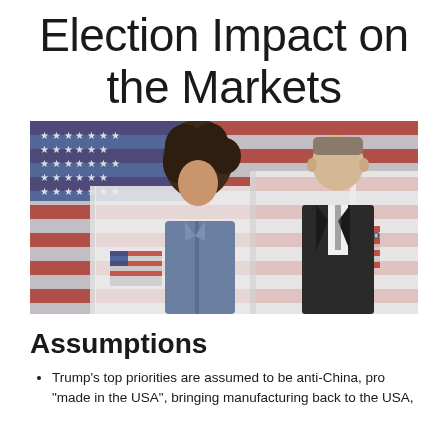Election Impact on the Markets
[Figure (photo): Two people standing at voting booths with American flags in the background. A woman with curly hair in a denim jacket on the left, a man in a dark suit on the right. Voting booth dividers visible.]
Assumptions
Trump’s top priorities are assumed to be anti-China, pro “made in the USA”, bringing manufacturing back to the USA,